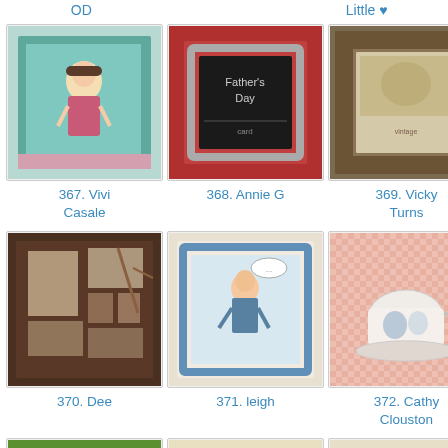OD
Little ♥
[Figure (photo): Crafted card with illustrated girl on teal background]
367. Vivi Casale
[Figure (photo): Father's Day card with metal frame on red background]
368. Annie G
[Figure (photo): Vintage-style framed artwork with wooden border stamps]
369. Vicky Turns
[Figure (photo): Shadow box display with decorative items on dark background]
370. Dee
[Figure (photo): Craft card with illustrated person in blue frame]
371. leigh
[Figure (photo): Card with teacup illustration on pink patterned background]
372. Cathy Clouston
[Figure (photo): Green card with calendar and small figure illustration]
373. mgoll88
[Figure (photo): Card with deer silhouette and Dad text on tan background]
374. Mary D
[Figure (photo): Card with bear/teddy bear character illustration]
375. kbrandy4
[Figure (photo): Card with barbecue scene illustration on plaid background]
[Figure (photo): Card with floral decorative design]
[Figure (photo): Mini album with floral embellishments]